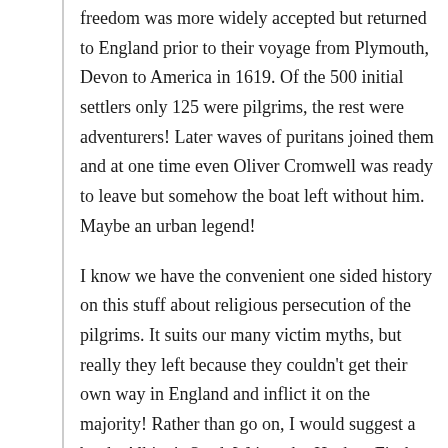freedom was more widely accepted but returned to England prior to their voyage from Plymouth, Devon to America in 1619. Of the 500 initial settlers only 125 were pilgrims, the rest were adventurers! Later waves of puritans joined them and at one time even Oliver Cromwell was ready to leave but somehow the boat left without him. Maybe an urban legend!
I know we have the convenient one sided history on this stuff about religious persecution of the pilgrims. It suits our many victim myths, but really they left because they couldn't get their own way in England and inflict it on the majority! Rather than go on, I would suggest a book: Albion's Seed. Written by Hackett Fischer, about the four British